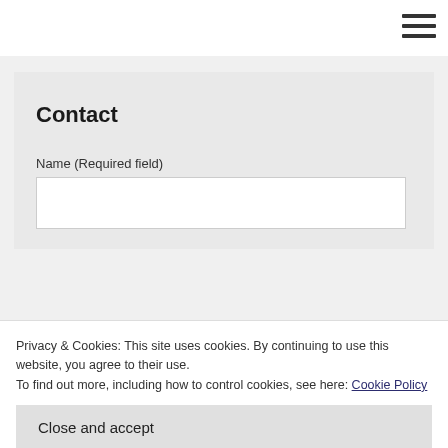Contact
Name (Required field)
Privacy & Cookies: This site uses cookies. By continuing to use this website, you agree to their use.
To find out more, including how to control cookies, see here: Cookie Policy
Close and accept